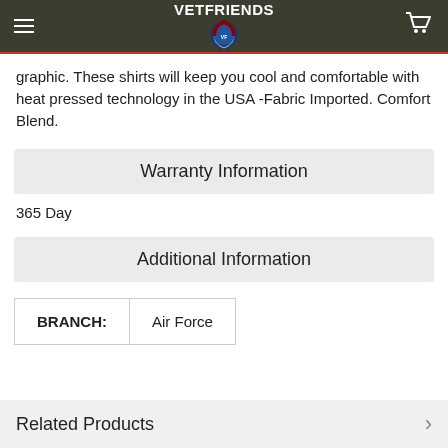VETFRIENDS
graphic. These shirts will keep you cool and comfortable with heat pressed technology in the USA -Fabric Imported. Comfort Blend.
Warranty Information
365 Day
Additional Information
| BRANCH: | Air Force |
| --- | --- |
Related Products